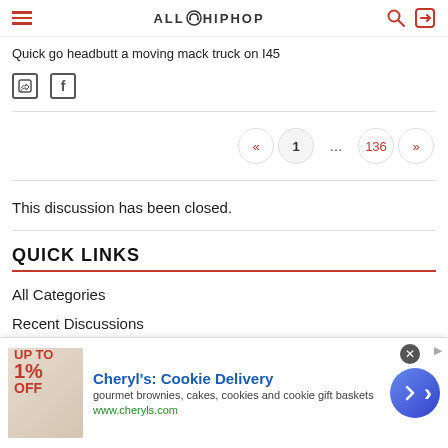AllHipHop
Quick go headbutt a moving mack truck on I45
Twitter Facebook social share icons
Pagination: « 1 ... 136 »
This discussion has been closed.
QUICK LINKS
All Categories
Recent Discussions
[Figure (screenshot): Advertisement banner for Cheryl's Cookie Delivery: gourmet brownies, cakes, cookies and cookie gift baskets. www.cheryls.com]